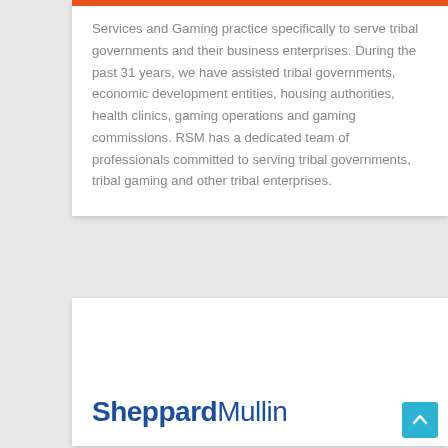Services and Gaming practice specifically to serve tribal governments and their business enterprises. During the past 31 years, we have assisted tribal governments, economic development entities, housing authorities, health clinics, gaming operations and gaming commissions. RSM has a dedicated team of professionals committed to serving tribal governments, tribal gaming and other tribal enterprises.
[Figure (logo): SheppardMullin logo in bold blue text]